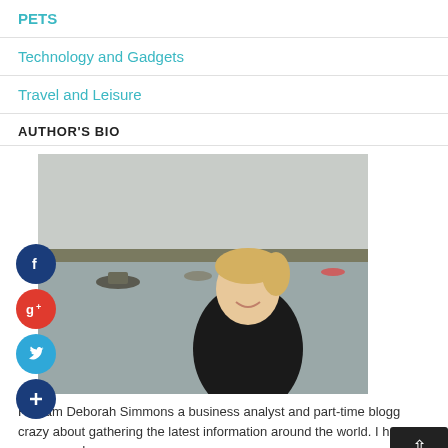PETS
Technology and Gadgets
Travel and Leisure
AUTHOR'S BIO
[Figure (photo): Woman with short blonde hair smiling, wearing a black hoodie, standing near a body of water with boats in the background. Social media icons (Facebook, Google+, Twitter, plus) overlaid on the left side.]
Hi, I am Deborah Simmons a business analyst and part-time blogg... crazy about gathering the latest information around the world. I ha... d